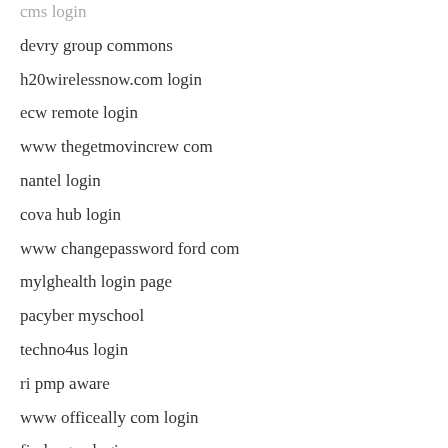cms login
devry group commons
h20wirelessnow.com login
ecw remote login
www thegetmovincrew com
nantel login
cova hub login
www changepassword ford com
mylghealth login page
pacyber myschool
techno4us login
ri pmp aware
www officeally com login
fireleague login